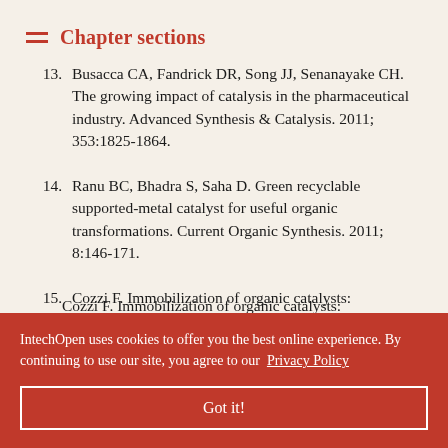Chapter sections
13. Busacca CA, Fandrick DR, Song JJ, Senanayake CH. The growing impact of catalysis in the pharmaceutical industry. Advanced Synthesis & Catalysis. 2011; 353:1825-1864.
14. Ranu BC, Bhadra S, Saha D. Green recyclable supported-metal catalyst for useful organic transformations. Current Organic Synthesis. 2011; 8:146-171.
15. Cozzi F. Immobilization of organic catalysts: ... Advanced Synthesis & ... ge of ... mie ... 3-5175.
IntechOpen uses cookies to offer you the best online experience. By continuing to use our site, you agree to our Privacy Policy
Got it!